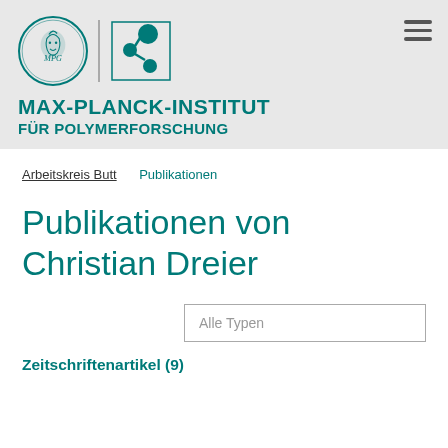[Figure (logo): Max-Planck-Institut für Polymerforschung logo with classical head medallion and molecule symbol, plus hamburger menu icon]
MAX-PLANCK-INSTITUT FÜR POLYMERFORSCHUNG
Arbeitskreis Butt  Publikationen
Publikationen von Christian Dreier
Alle Typen
Zeitschriftenartikel (9)